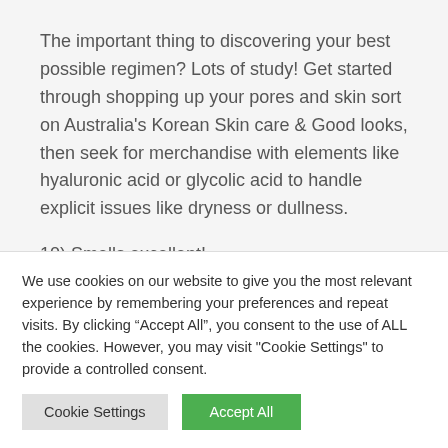The important thing to discovering your best possible regimen? Lots of study! Get started through shopping up your pores and skin sort on Australia’s Korean Skin care & Good looks, then seek for merchandise with elements like hyaluronic acid or glycolic acid to handle explicit issues like dryness or dullness.
10) Smells excellent!
Numerous skin care merchandise are advertised as being
We use cookies on our website to give you the most relevant experience by remembering your preferences and repeat visits. By clicking “Accept All”, you consent to the use of ALL the cookies. However, you may visit "Cookie Settings" to provide a controlled consent.